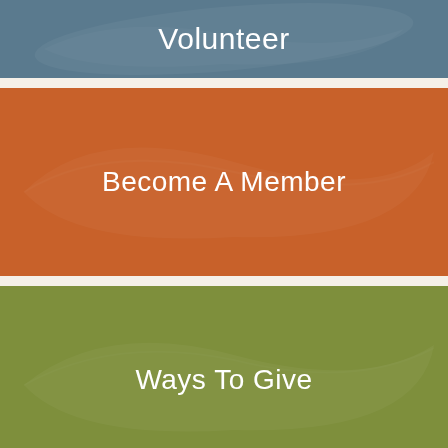[Figure (illustration): Blue banner with leaf watermark, partially visible text 'Volunteer']
[Figure (illustration): Orange banner with leaf watermark and text 'Become A Member']
[Figure (illustration): Green banner with leaf watermark and text 'Ways To Give']
Twitter Feed
Tweets by @chestnut1904